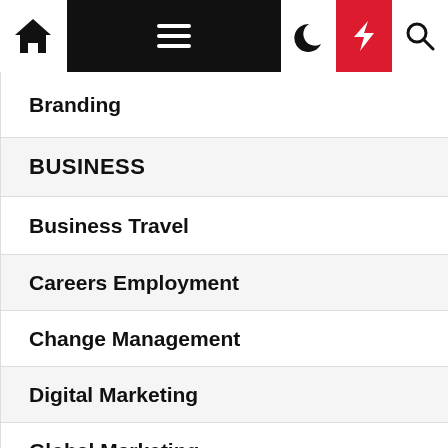[Figure (screenshot): Website navigation bar with home icon, hamburger menu (black background), moon icon, red lightning bolt icon, and search icon]
Branding
BUSINESS
Business Travel
Careers Employment
Change Management
Digital Marketing
Global Marketing
International Business
MANAGEMENT
MARKETING